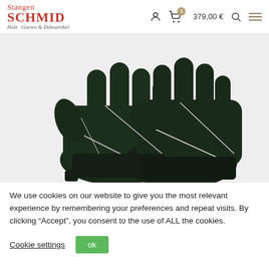Stangen SCHMID - Holz, Garten & Dekoartikel | Cart: 379,00 €
[Figure (photo): Two dark green/black leather work gloves with white stitching, overlapping each other, shown on a light background.]
We use cookies on our website to give you the most relevant experience by remembering your preferences and repeat visits. By clicking “Accept”, you consent to the use of ALL the cookies.
Cookie settings | ok